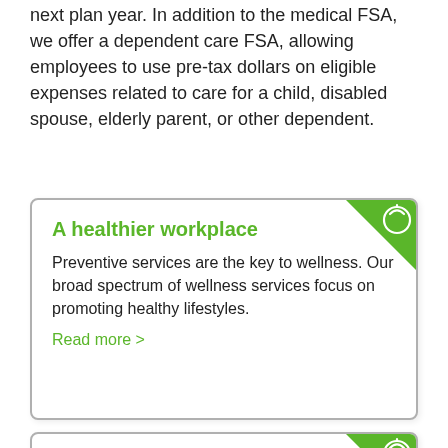next plan year. In addition to the medical FSA, we offer a dependent care FSA, allowing employees to use pre-tax dollars on eligible expenses related to care for a child, disabled spouse, elderly parent, or other dependent.
A healthier workplace
Preventive services are the key to wellness. Our broad spectrum of wellness services focus on promoting healthy lifestyles.
Read more >
Telehealth
The Health Plan's telehealth program, powered